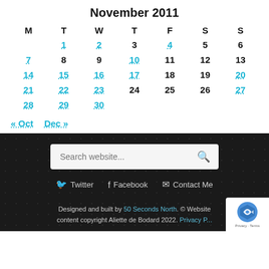November 2011
| M | T | W | T | F | S | S |
| --- | --- | --- | --- | --- | --- | --- |
|  | 1 | 2 | 3 | 4 | 5 | 6 |
| 7 | 8 | 9 | 10 | 11 | 12 | 13 |
| 14 | 15 | 16 | 17 | 18 | 19 | 20 |
| 21 | 22 | 23 | 24 | 25 | 26 | 27 |
| 28 | 29 | 30 |  |  |  |  |
« Oct   Dec »
[Figure (screenshot): Search bar with placeholder text 'Search website...' and a search icon]
Twitter   Facebook   Contact Me
Designed and built by 50 Seconds North. © Website content copyright Aliette de Bodard 2022. Privacy P...